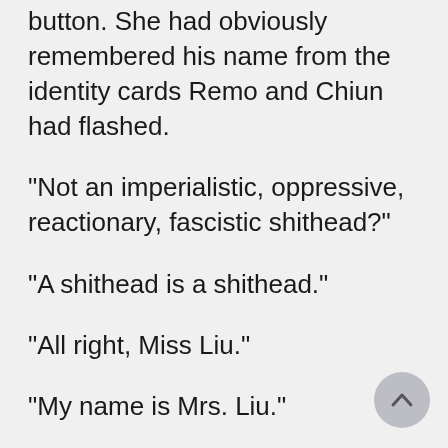button. She had obviously remembered his name from the identity cards Remo and Chiun had flashed.
"Not an imperialistic, oppressive, reactionary, fascistic shithead?"
"A shithead is a shithead."
"All right, Miss Liu."
"My name is Mrs. Liu."
"You're married to the general's son?"
"I am married to General Liu and I am looking for my husband."
Remo remembered the small picture from briefing. General Liu's face was hard and weather-beaten, with strong lines cut in